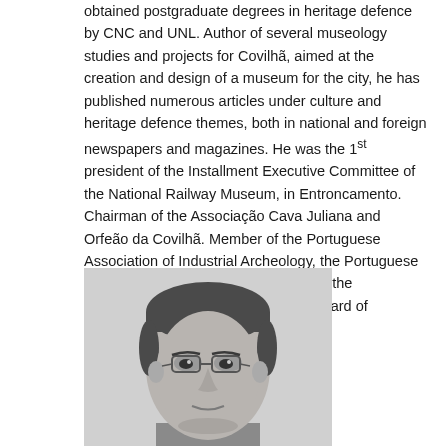obtained postgraduate degrees in heritage defence by CNC and UNL. Author of several museology studies and projects for Covilhã, aimed at the creation and design of a museum for the city, he has published numerous articles under culture and heritage defence themes, both in national and foreign newspapers and magazines. He was the 1st president of the Installment Executive Committee of the National Railway Museum, in Entroncamento. Chairman of the Associação Cava Juliana and Orfeão da Covilhã. Member of the Portuguese Association of Industrial Archeology, the Portuguese Association of Industrial Heritage, and the Portuguese Association for the Safeguard of Intangible Cultural Heritage.
[Figure (photo): Black and white portrait photo of a middle-aged man wearing glasses, with short dark hair, looking directly at the camera.]